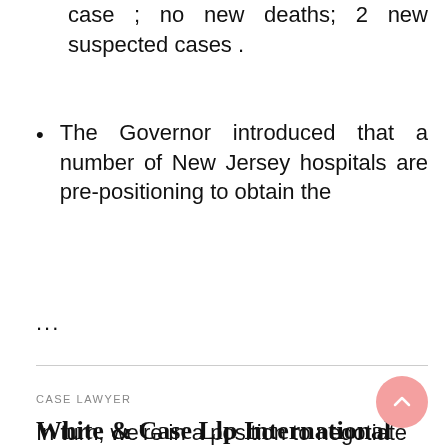case ; no new deaths; 2 new suspected cases .
The Governor introduced that a number of New Jersey hospitals are pre-positioning to obtain the
...
CASE LAWYER
White & Case Llp International Law Firm, World Law Apply
30/07/2021   LUFFY
In turn, we're in a position to negotiate